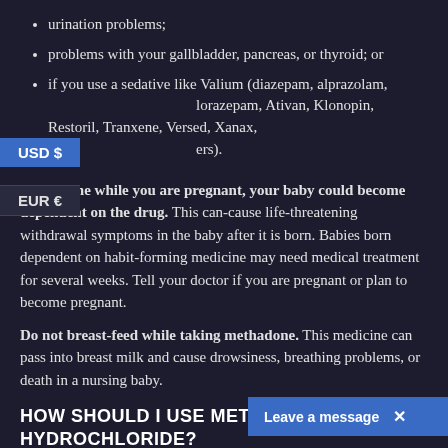urination problems;
problems with your gallbladder, pancreas, or thyroid; or
if you use a sedative like Valium (diazepam, alprazolam, lorazepam, Ativan, Klonopin, Restoril, Tranxene, Versed, Xanax, and others).
...methadone while you are pregnant, your baby could become dependent on the drug. This can-cause life-threatening withdrawal symptoms in the baby after it is born. Babies born dependent on habit-forming medicine may need medical treatment for several weeks. Tell your doctor if you are pregnant or plan to become pregnant.
Do not breast-feed while taking methadone. This medicine can pass into breast milk and cause drowsiness, breathing problems, or death in a nursing baby.
HOW SHOULD I USE METHADONE 10 MG HYDROCHLORIDE?